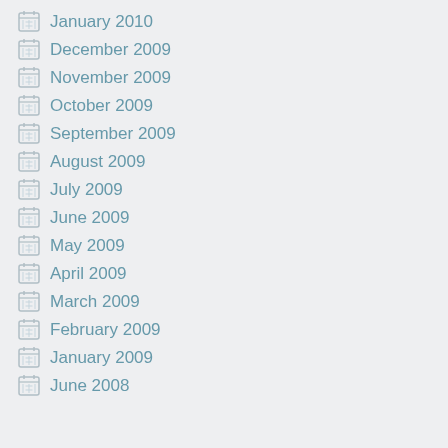January 2010
December 2009
November 2009
October 2009
September 2009
August 2009
July 2009
June 2009
May 2009
April 2009
March 2009
February 2009
January 2009
June 2008